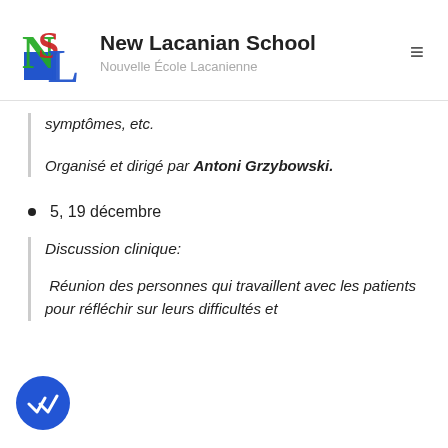New Lacanian School — Nouvelle École Lacanienne
symptômes, etc.
Organisé et dirigé par Antoni Grzybowski.
5, 19 décembre
Discussion clinique:
Réunion des personnes qui travaillent avec les patients pour réfléchir sur leurs difficultés et